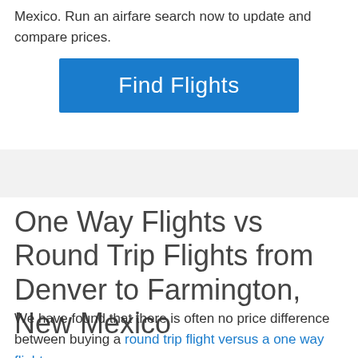Mexico. Run an airfare search now to update and compare prices.
[Figure (other): Blue 'Find Flights' call-to-action button]
One Way Flights vs Round Trip Flights from Denver to Farmington, New Mexico
We have found that there is often no price difference between buying a round trip flight versus a one way flight...